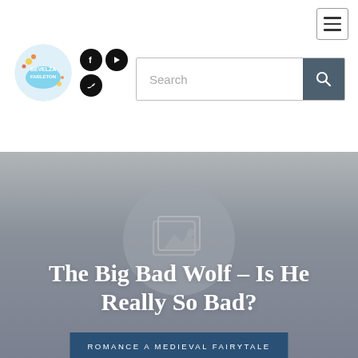[Figure (logo): Website logo circle with colorful illustration and text]
[Figure (illustration): Three social media icons: Facebook, YouTube, Twitter in black circles]
[Figure (screenshot): Search bar with magnifying glass button]
[Figure (illustration): Hamburger menu icon button in top right corner]
[Figure (photo): Hero banner with grey gradient background and faint image placeholder circle]
The Big Bad Wolf – Is He Really So Bad?
ROMANCE A MEDIEVAL FAIRYTALE